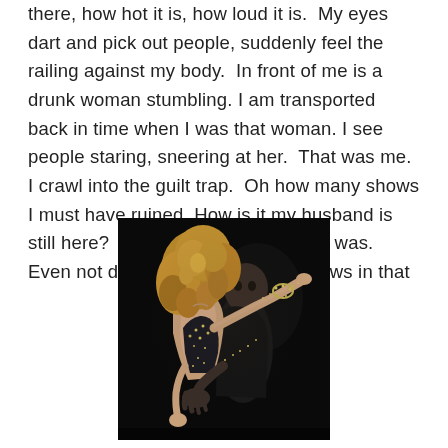there, how hot it is, how loud it is.  My eyes dart and pick out people, suddenly feel the railing against my body.  In front of me is a drunk woman stumbling. I am transported back in time when I was that woman. I see people staring, sneering at her.  That was me. I crawl into the guilt trap.  Oh how many shows I must have ruined. How is it my husband is still here?  What a liar, manipulator I was.  Even not drinking, I have ruined shows in that
[Figure (photo): A couple dancing together against a dark/black background. A woman with curly blonde hair wearing a sparkly/beaded outfit is dancing with a man behind her. The woman's arm is outstretched.]